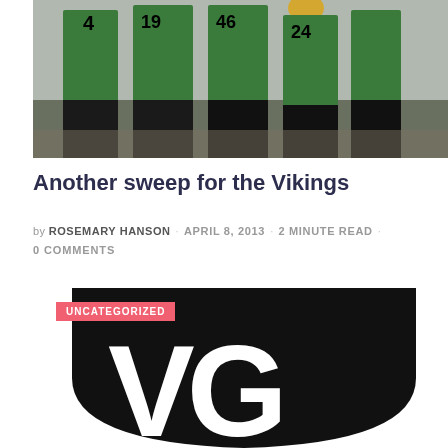[Figure (photo): Sports team photo showing softball/baseball players from behind in green jerseys with numbers 4, 19, 46, 24 visible, on a field]
Another sweep for the Vikings
by ROSEMARY HANSON · APRIL 8, 2013 · 2 MINUTE READ · 0 COMMENTS
[Figure (logo): VG shield logo in black and white with UNCATEGORIZED badge overlay in pink/red]